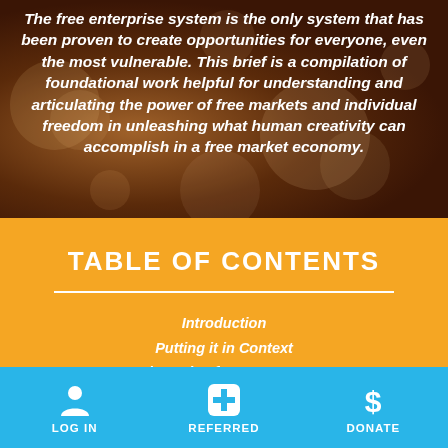The free enterprise system is the only system that has been proven to create opportunities for everyone, even the most vulnerable. This brief is a compilation of foundational work helpful for understanding and articulating the power of free markets and individual freedom in unleashing what human creativity can accomplish in a free market economy.
TABLE OF CONTENTS
Introduction
Putting it in Context
The Role of Government
Current Challenges and Areas for Reform
[Figure (infographic): Blue footer bar with three icon buttons: LOG IN (person icon), REFERRED (plus/medical icon), DONATE (dollar sign icon)]